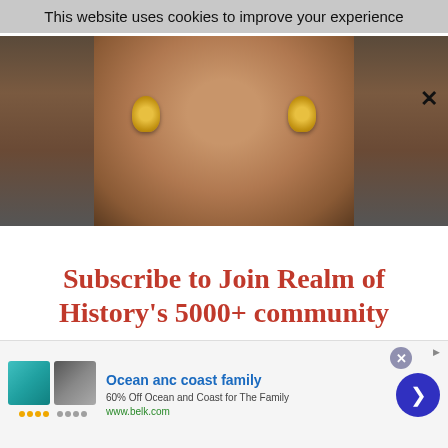This website uses cookies to improve your experience
[Figure (photo): Close-up photo of a person's lower face wearing gold earrings, with a dark background]
Subscribe to Join Realm of History's 5000+ community
Email
[Figure (screenshot): Advertisement banner: Ocean anc coast family - 60% Off Ocean and Coast for The Family - www.belk.com, with product images of swimwear and a blue arrow button]